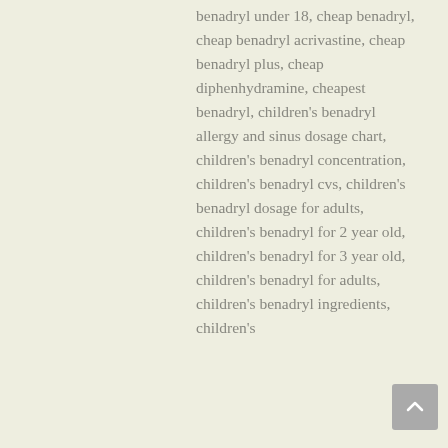benadryl under 18, cheap benadryl, cheap benadryl acrivastine, cheap benadryl plus, cheap diphenhydramine, cheapest benadryl, children's benadryl allergy and sinus dosage chart, children's benadryl concentration, children's benadryl cvs, children's benadryl dosage for adults, children's benadryl for 2 year old, children's benadryl for 3 year old, children's benadryl for adults, children's benadryl ingredients, children's